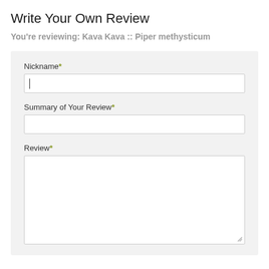Write Your Own Review
You're reviewing: Kava Kava :: Piper methysticum
Nickname*
Summary of Your Review*
Review*